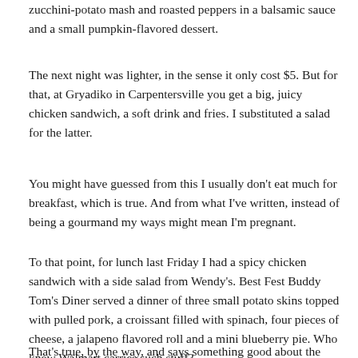zucchini-potato mash and roasted peppers in a balsamic sauce and a small pumpkin-flavored dessert.
The next night was lighter, in the sense it only cost $5. But for that, at Gryadiko in Carpentersville you get a big, juicy chicken sandwich, a soft drink and fries. I substituted a salad for the latter.
You might have guessed from this I usually don't eat much for breakfast, which is true. And from what I've written, instead of being a gourmand my ways might mean I'm pregnant.
To that point, for lunch last Friday I had a spicy chicken sandwich with a side salad from Wendy's. Best Fest Buddy Tom's Diner served a dinner of three small potato skins topped with pulled pork, a croissant filled with spinach, four pieces of cheese, a jalapeno flavored roll and a mini blueberry pie. Who knew Walmart carries such stuff?
That's true, by the way, and says something good about the